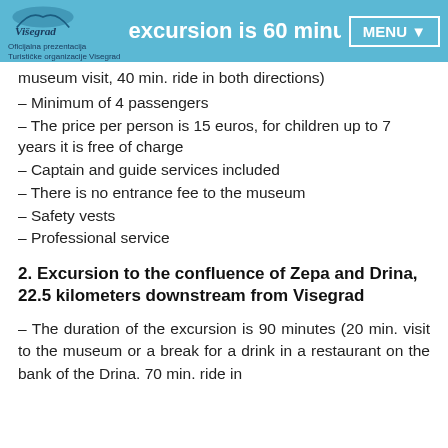Oficijalna prezentacija Turističke organizacije Visegrad – excursion is 60 minutes (20 min. MENU
museum visit, 40 min. ride in both directions)
– Minimum of 4 passengers
– The price per person is 15 euros, for children up to 7 years it is free of charge
– Captain and guide services included
– There is no entrance fee to the museum
– Safety vests
– Professional service
2. Excursion to the confluence of Zepa and Drina, 22.5 kilometers downstream from Visegrad
– The duration of the excursion is 90 minutes (20 min. visit to the museum or a break for a drink in a restaurant on the bank of the Drina. 70 min. ride in